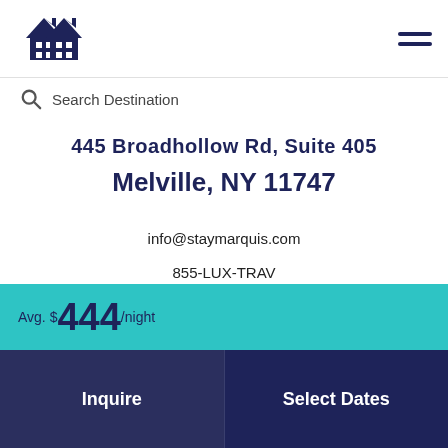[Figure (logo): Stay Marquis logo: two overlapping house icons in dark navy blue]
Search Destination
445 Broadhollow Rd, Suite 405
Melville, NY 11747
info@staymarquis.com
855-LUX-TRAV
Avg. $444/night
Inquire
Select Dates